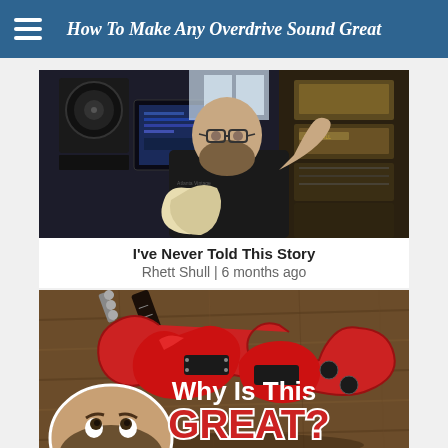How To Make Any Overdrive Sound Great
[Figure (screenshot): Video thumbnail showing a man in a recording studio holding a guitar, with studio monitors, computers, and guitar amplifier heads visible in the background. Man is wearing a black t-shirt with 'Atlanta Vintage Guitar' text.]
I've Never Told This Story
Rhett Shull | 6 months ago
[Figure (screenshot): Video thumbnail showing a red electric guitar (SG style) on a wooden surface, with a man's face in the lower left corner looking up. White text reads 'Why Is This' and large red bold text reads 'GREAT?']